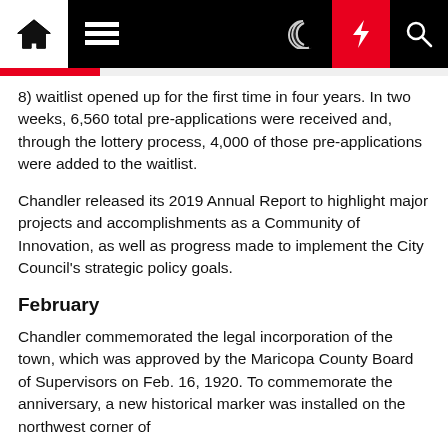Navigation bar with home, menu, dark mode, bolt, and search icons
8) waitlist opened up for the first time in four years. In two weeks, 6,560 total pre-applications were received and, through the lottery process, 4,000 of those pre-applications were added to the waitlist.
Chandler released its 2019 Annual Report to highlight major projects and accomplishments as a Community of Innovation, as well as progress made to implement the City Council's strategic policy goals.
February
Chandler commemorated the legal incorporation of the town, which was approved by the Maricopa County Board of Supervisors on Feb. 16, 1920. To commemorate the anniversary, a new historical marker was installed on the northwest corner of